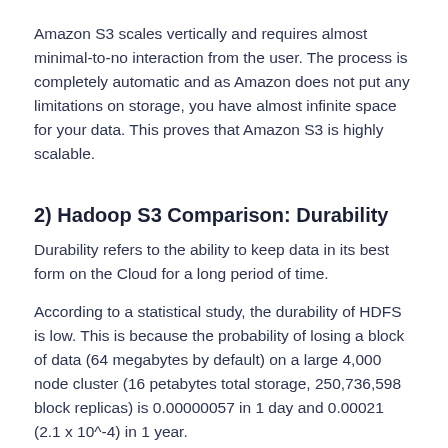Amazon S3 scales vertically and requires almost minimal-to-no interaction from the user. The process is completely automatic and as Amazon does not put any limitations on storage, you have almost infinite space for your data. This proves that Amazon S3 is highly scalable.
2) Hadoop S3 Comparison: Durability
Durability refers to the ability to keep data in its best form on the Cloud for a long period of time.
According to a statistical study, the durability of HDFS is low. This is because the probability of losing a block of data (64 megabytes by default) on a large 4,000 node cluster (16 petabytes total storage, 250,736,598 block replicas) is 0.00000057 in 1 day and 0.00021 (2.1 x 10^-4) in 1 year.
Amazon S3, on the other hand, provides the durability of